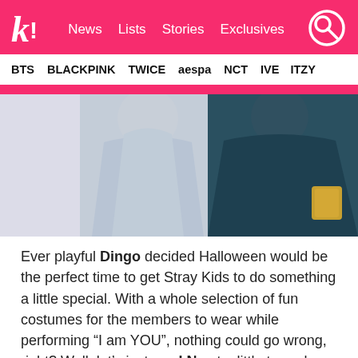k! News Lists Stories Exclusives
BTS BLACKPINK TWICE aespa NCT IVE ITZY
[Figure (photo): Two people in costumes - one in a light blue/grey oversized outfit, another in a dark teal/green outfit, photographed against a light purple-grey background]
Ever playful Dingo decided Halloween would be the perfect time to get Stray Kids to do something a little special. With a whole selection of fun costumes for the members to wear while performing “I am YOU”, nothing could go wrong, right? Well, let’s just say I.N got a little turned around in his first costume!